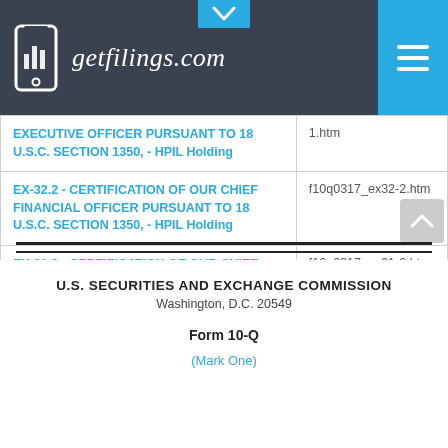[Figure (logo): getfilings.com logo with mobile phone icon on dark background header bar]
| Document | Filename |
| --- | --- |
| EX-32.1 - CERTIFICATION OF OUR CHIEF EXECUTIVE OFFICER PURSUANT TO 18 U.S.C. SECTION 1350, - HPIL Holding | 1.htm |
| EX-32.2 - CERTIFICATION OF OUR CHIEF FINANCIAL OFFICER PURSUANT TO 18 U.S.C. SECTION 1350, - HPIL Holding | f10q0317_ex32-2.htm |
| EX-31.2 - CERTIFICATION OF OUR CHIEF FINANCIAL OFFICER PURSUANT TO RULE 13(A)-14(A)/15D-14 - HPIL Holding | f10q0317_ex31-2.htm |
U.S. SECURITIES AND EXCHANGE COMMISSION
Washington, D.C. 20549
Form 10-Q
(Mark One)